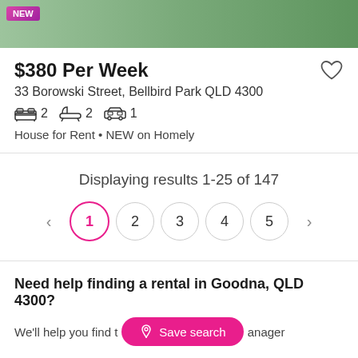[Figure (photo): Top image showing exterior of a house/property with a NEW badge in top left corner]
$380 Per Week
33 Borowski Street, Bellbird Park QLD 4300
2 bedrooms, 2 bathrooms, 1 parking
House for Rent • NEW on Homely
Displaying results 1-25 of 147
Pagination: < 1 2 3 4 5 >
Need help finding a rental in Goodna, QLD 4300?
We'll help you find the right property manager